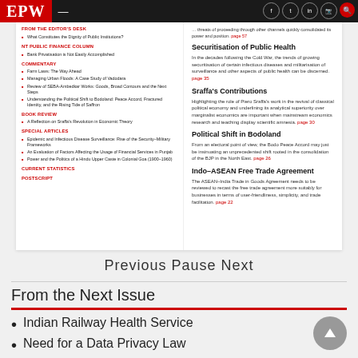EPW
[Figure (screenshot): Magazine contents page showing sections: From the Editor's Desk, NT Public Finance Column, Commentary, Book Review, Special Articles, Current Statistics, Postscript on left; article summaries on right including Securitisation of Public Health, Sraffa's Contributions, Political Shift in Bodoland, Indo-ASEAN Free Trade Agreement]
Previous Pause Next
From the Next Issue
Indian Railway Health Service
Need for a Data Privacy Law